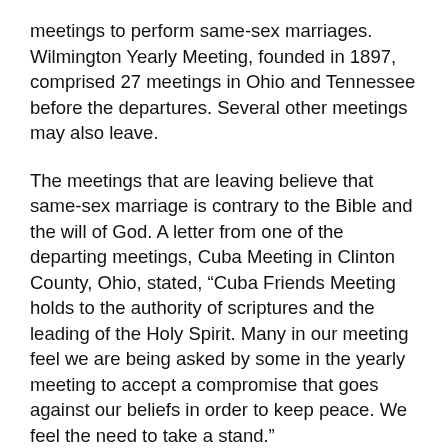meetings to perform same-sex marriages. Wilmington Yearly Meeting, founded in 1897, comprised 27 meetings in Ohio and Tennessee before the departures. Several other meetings may also leave.
The meetings that are leaving believe that same-sex marriage is contrary to the Bible and the will of God. A letter from one of the departing meetings, Cuba Meeting in Clinton County, Ohio, stated, “Cuba Friends Meeting holds to the authority of scriptures and the leading of the Holy Spirit. Many in our meeting feel we are being asked by some in the yearly meeting to accept a compromise that goes against our beliefs in order to keep peace. We feel the need to take a stand.”
The departures follow years of conflict around the issue. In the 2018 yearly meeting epistle, Dan Kasztolan and Julie Rudd of the Epistle Committee